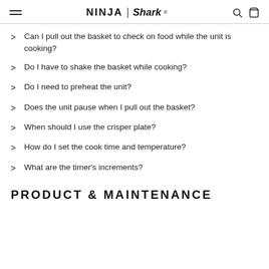NINJA | Shark
Can I pull out the basket to check on food while the unit is cooking?
Do I have to shake the basket while cooking?
Do I need to preheat the unit?
Does the unit pause when I pull out the basket?
When should I use the crisper plate?
How do I set the cook time and temperature?
What are the timer's increments?
PRODUCT & MAINTENANCE